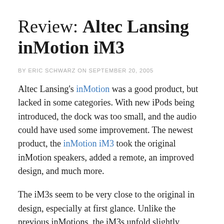Review: Altec Lansing inMotion iM3
BY ERIC SCHWARZ ON SEPTEMBER 20, 2005
Altec Lansing's inMotion was a good product, but lacked in some categories. With new iPods being introduced, the dock was too small, and the audio could have used some improvement. The newest product, the inMotion iM3 took the original inMotion speakers, added a remote, an improved design, and much more.
The iM3s seem to be very close to the original in design, especially at first glance. Unlike the previous inMotions, the iM3s unfold slightly differently, utilizing a spring-loaded mechanism that now protects the dock. Grills cover the four 28mm neodymium magnet Micro Drive speakers, the front settings, and